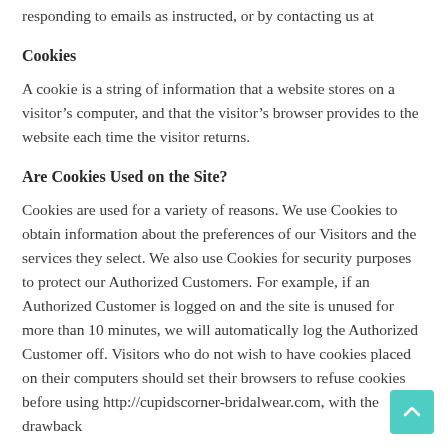responding to emails as instructed, or by contacting us at
Cookies
A cookie is a string of information that a website stores on a visitor’s computer, and that the visitor’s browser provides to the website each time the visitor returns.
Are Cookies Used on the Site?
Cookies are used for a variety of reasons. We use Cookies to obtain information about the preferences of our Visitors and the services they select. We also use Cookies for security purposes to protect our Authorized Customers. For example, if an Authorized Customer is logged on and the site is unused for more than 10 minutes, we will automatically log the Authorized Customer off. Visitors who do not wish to have cookies placed on their computers should set their browsers to refuse cookies before using http://cupidscorner-bridalwear.com, with the drawback